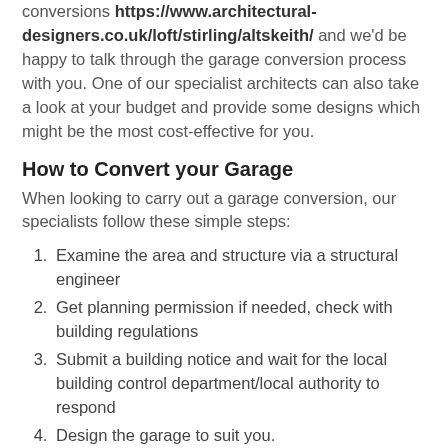conversions https://www.architectural-designers.co.uk/loft/stirling/altskeith/ and we'd be happy to talk through the garage conversion process with you. One of our specialist architects can also take a look at your budget and provide some designs which might be the most cost-effective for you.
How to Convert your Garage
When looking to carry out a garage conversion, our specialists follow these simple steps:
Examine the area and structure via a structural engineer
Get planning permission if needed, check with building regulations
Submit a building notice and wait for the local building control department/local authority to respond
Design the garage to suit you.
Build the structure.
Decorate and design the garage to suit you.
As garage conversion specialists, we have years of experience and